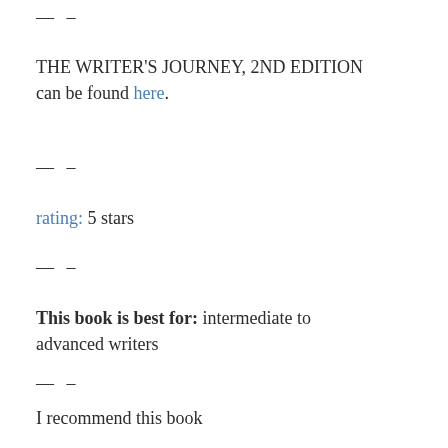— —
THE WRITER'S JOURNEY, 2ND EDITION can be found here.
— —
rating: 5 stars
— —
This book is best for: intermediate to advanced writers
— —
I recommend this book
—